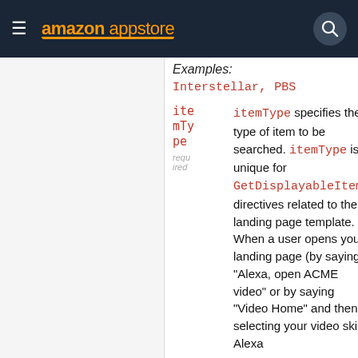amazon appstore
Examples: Interstellar, PBS
| Parameter | Description | Type |
| --- | --- | --- |
| itemType
(required) | itemType specifies the type of item to be searched. itemType is unique for GetDisplayableItems directives related to the landing page template. When a user opens your landing page (by saying "Alexa, open ACME video" or by saying "Video Home" and then selecting your video skill), Alexa | Enum |